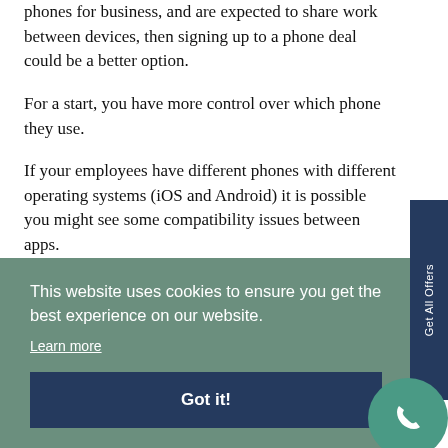phones for business, and are expected to share work between devices, then signing up to a phone deal could be a better option.
For a start, you have more control over which phone they use.
If your employees have different phones with different operating systems (iOS and Android) it is possible you might see some compatibility issues between apps.
This website uses cookies to ensure you get the best experience on our website.
Learn more
Got it!
employees are using the most up to date phones.